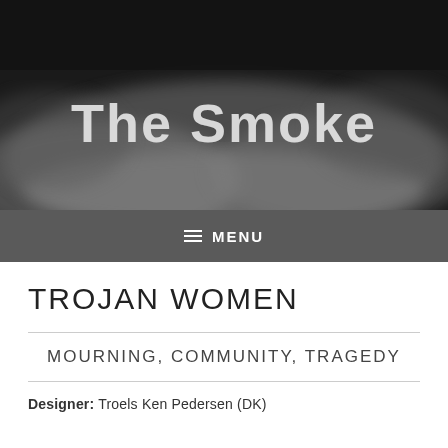[Figure (photo): Dark smoky background header image with 'The Smoke' text in bold silver/white letters]
≡ MENU
TROJAN WOMEN
MOURNING, COMMUNITY, TRAGEDY
Designer: Troels Ken Pedersen (DK)